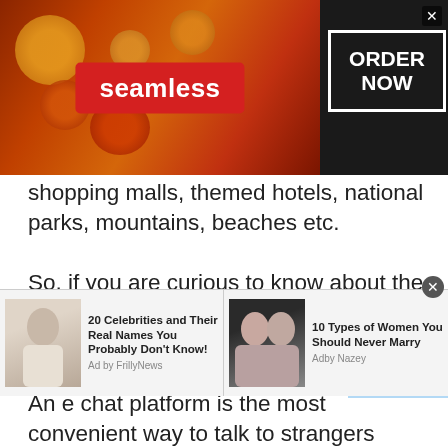[Figure (screenshot): Seamless food delivery advertisement banner with pizza image on dark background, showing 'seamless' red badge and 'ORDER NOW' white-bordered box, with X close button]
shopping malls, themed hotels, national parks, mountains, beaches etc.

So, if you are curious to know about the most exciting things about America then an American chat room is the place to be where you don't need to go anywhere. An e chat platform is the most convenient way to talk to strangers online. Armenian Chat USA is available at one of the reliable e-chat sites Talkwithstranger. Yes, TWS is the most authentic online chatting site where people can chat with millions of strangers online without spending
[Figure (screenshot): Bottom advertisement strip with two sponsored content items: '20 Celebrities and Their Real Names You Probably Don't Know!' by FrillyNews with male photo, and '10 Types of Women You Should Never Marry' by Adby Nazey with photo of two women]